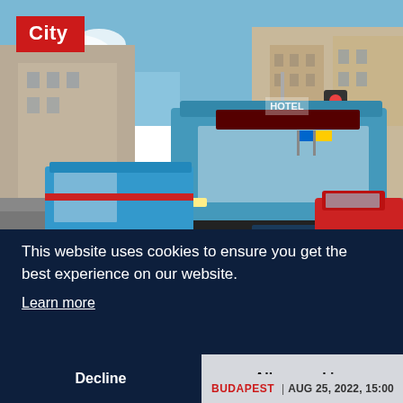[Figure (photo): Street scene in Budapest showing blue city buses (Ikarus/Volvo) driving on an urban road flanked by historic buildings, with a red car visible on the right side. A hotel sign and road signs are visible in the background.]
City
This website uses cookies to ensure you get the best experience on our website.
Learn more
Decline
Allow cookies
BUDAPEST  |  AUG 25, 2022, 15:00